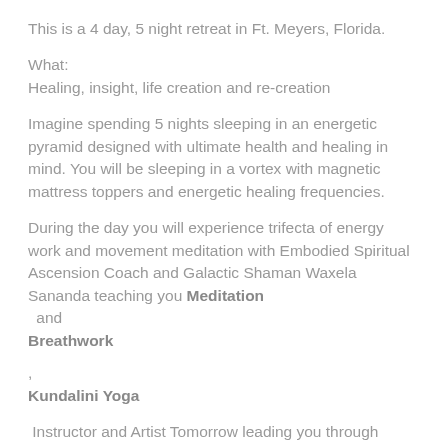This is a 4 day, 5 night retreat in Ft. Meyers, Florida.
What:
Healing, insight, life creation and re-creation
Imagine spending 5 nights sleeping in an energetic pyramid designed with ultimate health and healing in mind. You will be sleeping in a vortex with magnetic mattress toppers and energetic healing frequencies.
During the day you will experience trifecta of energy work and movement meditation with Embodied Spiritual Ascension Coach and Galactic Shaman Waxela Sananda teaching you Meditation
 and
Breathwork
,
Kundalini Yoga
 Instructor and Artist Tomorrow leading you through meditative yoga movement, and